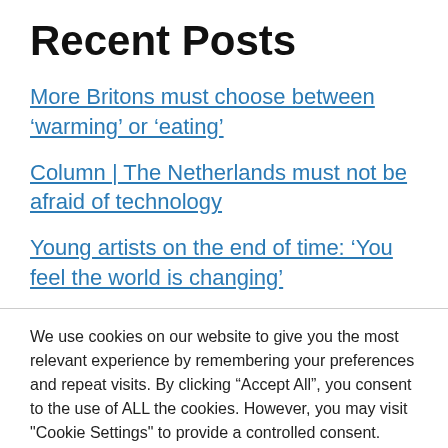Recent Posts
More Britons must choose between ‘warming’ or ‘eating’
Column | The Netherlands must not be afraid of technology
Young artists on the end of time: ‘You feel the world is changing’
We use cookies on our website to give you the most relevant experience by remembering your preferences and repeat visits. By clicking “Accept All”, you consent to the use of ALL the cookies. However, you may visit "Cookie Settings" to provide a controlled consent.
Cookie Settings | Accept All